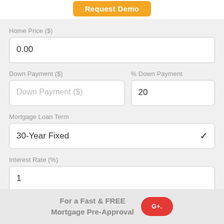Request Demo
Home Price ($)
0.00
Down Payment ($)
% Down Payment
Down Payment ($)
20
Mortgage Loan Term
30-Year Fixed
Interest Rate (%)
1
For a Fast & FREE Mortgage Pre-Approval